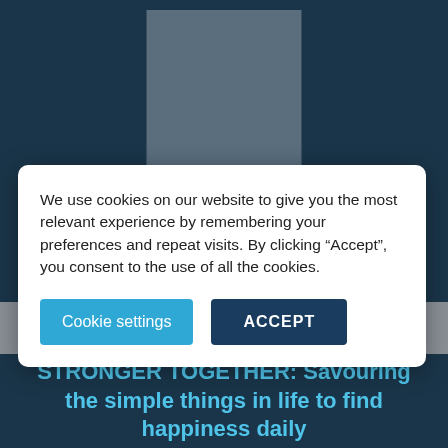[Figure (screenshot): Website screenshot showing a dark navy blue background with a grey cross/plus shaped logo placeholder in the upper center area]
We use cookies on our website to give you the most relevant experience by remembering your preferences and repeat visits. By clicking “Accept”, you consent to the use of all the cookies.
Cookie settings
ACCEPT
≡  Programs & Services
STRONGER TOGETHER: Savouring the simple things in life to find happiness daily